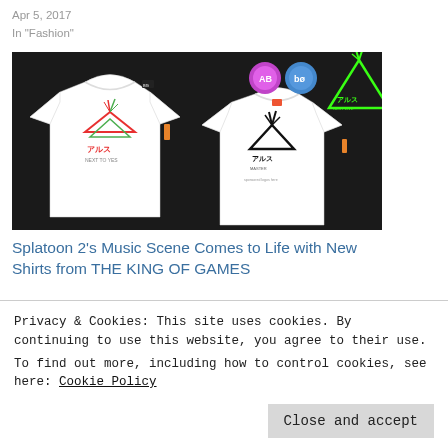Apr 5, 2017
In "Fashion"
[Figure (photo): Two white t-shirts with Japanese-style logo graphics on a dark background, promoting Splatoon 2 music scene / THE KING OF GAMES]
Splatoon 2's Music Scene Comes to Life with New Shirts from THE KING OF GAMES
Aug 10, 2017
In "Fashion"
Privacy & Cookies: This site uses cookies. By continuing to use this website, you agree to their use.
To find out more, including how to control cookies, see here: Cookie Policy
Close and accept